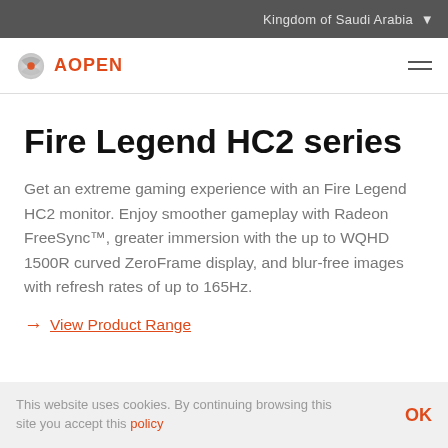Kingdom of Saudi Arabia
[Figure (logo): AOPEN logo with circular icon and orange AOPEN text]
Fire Legend HC2 series
Get an extreme gaming experience with an Fire Legend HC2 monitor. Enjoy smoother gameplay with Radeon FreeSync™, greater immersion with the up to WQHD 1500R curved ZeroFrame display, and blur-free images with refresh rates of up to 165Hz.
→ View Product Range
This website uses cookies. By continuing browsing this site you accept this policy  OK